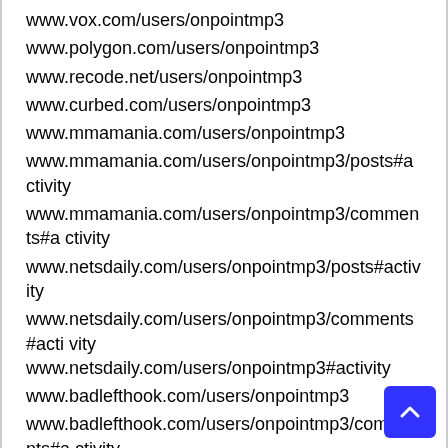www.vox.com/users/onpointmp3
www.polygon.com/users/onpointmp3
www.recode.net/users/onpointmp3
www.curbed.com/users/onpointmp3
www.mmamania.com/users/onpointmp3
www.mmamania.com/users/onpointmp3/posts#activity
www.mmamania.com/users/onpointmp3/comments#activity
www.netsdaily.com/users/onpointmp3/posts#activity
www.netsdaily.com/users/onpointmp3/comments#activity www.netsdaily.com/users/onpointmp3#activity
www.badlefthook.com/users/onpointmp3
www.badlefthook.com/users/onpointmp3/comments#activity
www.badlefthook.com/users/onpointmp3/posts#activit